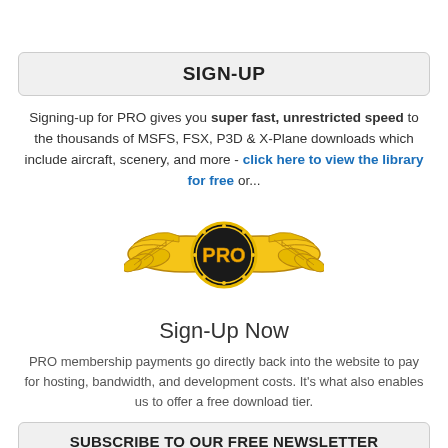SIGN-UP
Signing-up for PRO gives you super fast, unrestricted speed to the thousands of MSFS, FSX, P3D & X-Plane downloads which include aircraft, scenery, and more - click here to view the library for free or...
[Figure (logo): PRO membership wings logo with gold wings and black circular PRO badge in center]
Sign-Up Now
PRO membership payments go directly back into the website to pay for hosting, bandwidth, and development costs. It’s what also enables us to offer a free download tier.
SUBSCRIBE TO OUR FREE NEWSLETTER
Join over 145,000 subscribers of our free dedicated flight simulation newsletter.